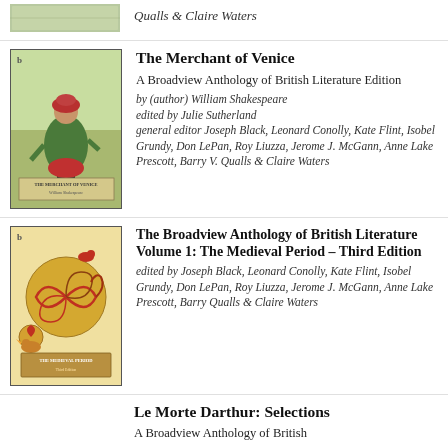Qualls & Claire Waters
[Figure (photo): Partial book cover image at top of page]
The Merchant of Venice
A Broadview Anthology of British Literature Edition
by (author) William Shakespeare
edited by Julie Sutherland
general editor Joseph Black, Leonard Conolly, Kate Flint, Isobel Grundy, Don LePan, Roy Liuzza, Jerome J. McGann, Anne Lake Prescott, Barry V. Qualls & Claire Waters
[Figure (photo): Book cover of The Merchant of Venice - Broadview Anthology edition, showing a medieval-style illustration of a man in green and red clothing]
The Broadview Anthology of British Literature Volume 1: The Medieval Period – Third Edition
edited by Joseph Black, Leonard Conolly, Kate Flint, Isobel Grundy, Don LePan, Roy Liuzza, Jerome J. McGann, Anne Lake Prescott, Barry Qualls & Claire Waters
[Figure (photo): Book cover of The Broadview Anthology of British Literature Volume 1: The Medieval Period, showing ornate medieval manuscript illumination]
Le Morte Darthur: Selections
A Broadview Anthology of British